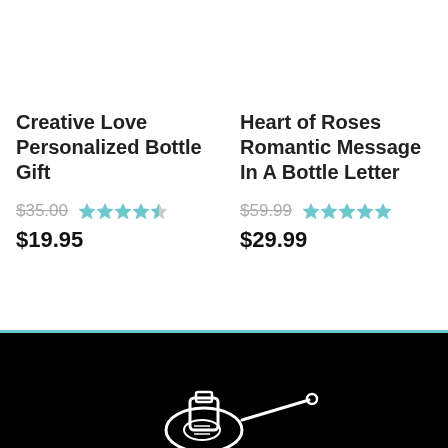Creative Love Personalized Bottle Gift
$35.00 ★★★★½ $19.95
Heart of Roses Romantic Message In A Bottle Letter
$59.99 ★★★★★ $29.99
[Figure (illustration): White line-art illustration of a message in a bottle on a black background footer]